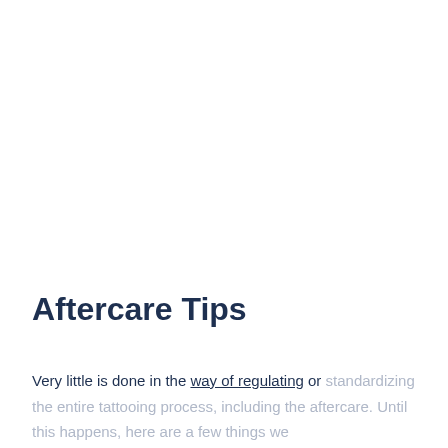Aftercare Tips
Very little is done in the way of regulating or standardizing the entire tattooing process, including the aftercare. Until this happens, here are a few things we